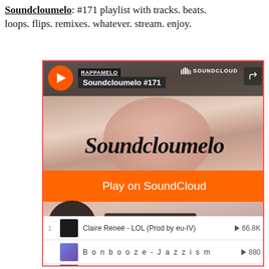Soundcloumelo: #171 playlist with tracks. beats. loops. flips. remixes. whatever. stream. enjoy.
[Figure (screenshot): SoundCloud embedded player widget showing Soundcloumelo #171 playlist by RAPPAMELO. Features a cat photo background with orange play button, 5 tracks listed including Claire Reneé - LOL (Prod by eu-IV) with 66.8K plays and Bonbooze - Jazzism with 880 plays.]
Claire Reneé - LOL (Prod by eu-IV)  ▶ 66.8K
Bonbooze - Jazzism  ▶ 880